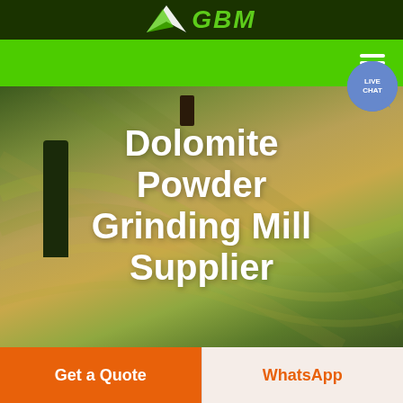[Figure (logo): GBM logo with arrow/wing graphic on dark green header bar]
[Figure (screenshot): Green navigation bar with hamburger menu icon on the right]
[Figure (illustration): Live chat blue speech bubble with text LIVE CHAT]
[Figure (photo): Aerial/overhead view of rolling agricultural fields with curved green and golden rows, a dark standing stone or tree silhouette on the left, and a small figure at the top center]
Dolomite Powder Grinding Mill Supplier
Get a Quote
WhatsApp